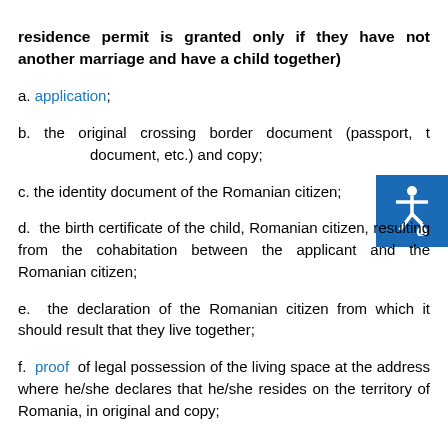residence permit is granted only if they have not another marriage and have a child together)
a. application;
b. the original crossing border document (passport, travel document, etc.) and copy;
c. the identity document of the Romanian citizen;
d. the birth certificate of the child, Romanian citizen, resulting from the cohabitation between the applicant and the Romanian citizen;
e. the declaration of the Romanian citizen from which it should result that they live together;
f. proof of legal possession of the living space at the address where he/she declares that he/she resides on the territory of Romania, in original and copy;